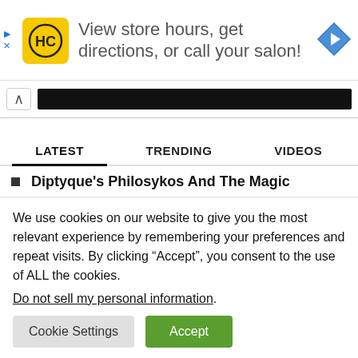[Figure (screenshot): Advertisement banner with HC (Hair Club) yellow logo on left, text 'View store hours, get directions, or call your salon!' in center, blue navigation arrow icon on right. Ad controls (play and close) on left side.]
[Figure (screenshot): Navigation bar with up caret button and redacted/blacked-out URL or content bar.]
[Figure (screenshot): Tab navigation row with three tabs: LATEST (active, underlined), TRENDING, VIDEOS. Below is partial article title 'Diptyque's Philosykos And The Magic'.]
We use cookies on our website to give you the most relevant experience by remembering your preferences and repeat visits. By clicking “Accept”, you consent to the use of ALL the cookies.
Do not sell my personal information.
Cookie Settings
Accept